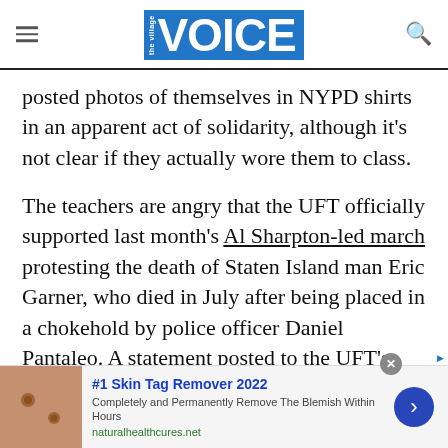the Village VOICE
posted photos of themselves in NYPD shirts in an apparent act of solidarity, although it's not clear if they actually wore them to class.
The teachers are angry that the UFT officially supported last month's Al Sharpton-led march protesting the death of Staten Island man Eric Garner, who died in July after being placed in a chokehold by police officer Daniel Pantaleo. A statement posted to the UFT's Facebook page on
[Figure (other): Advertisement banner: #1 Skin Tag Remover 2022. Completely and Permanently Remove The Blemish Within Hours. naturalhealthcures.net]